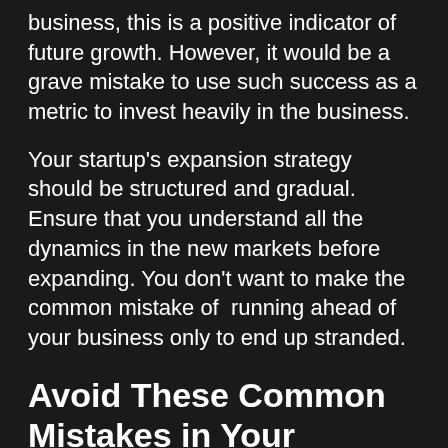business, this is a positive indicator of future growth. However, it would be a grave mistake to use such success as a metric to invest heavily in the business.
Your startup's expansion strategy should be structured and gradual. Ensure that you understand all the dynamics in the new markets before expanding. You don't want to make the common mistake of  running ahead of your business only to end up stranded.
Avoid These Common Mistakes in Your Startup
Information is power. Most entrepreneurs make mistakes in their initial years of business due to their failure to learn ahead of time when launching...